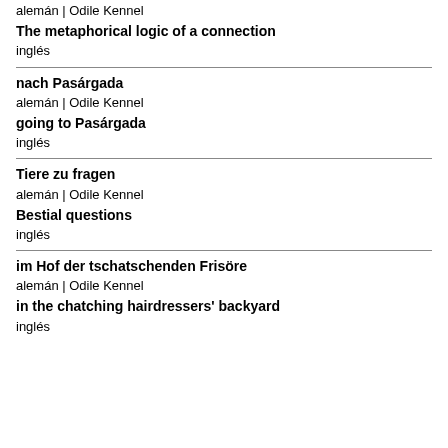alemán | Odile Kennel
The metaphorical logic of a connection
inglés
nach Pasárgada
alemán | Odile Kennel
going to Pasárgada
inglés
Tiere zu fragen
alemán | Odile Kennel
Bestial questions
inglés
im Hof der tschatschenden Frisöre
alemán | Odile Kennel
in the chatching hairdressers' backyard
inglés